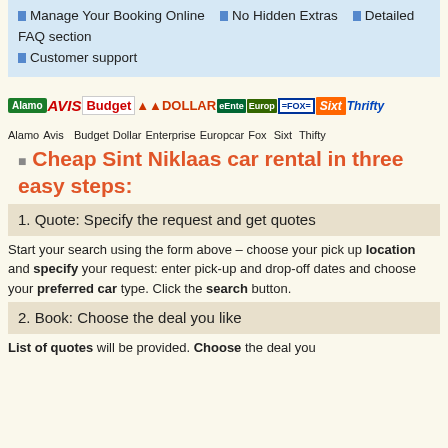Manage Your Booking Online
No Hidden Extras
Detailed FAQ section
Customer support
[Figure (logo): Row of car rental brand logos: Alamo, Avis, Budget, Dollar, Enterprise, Europcar, Fox, Sixt, Thrifty]
Alamo Avis Budget Dollar Enterprise Europcar Fox Sixt Thifty
Cheap Sint Niklaas car rental in three easy steps:
1. Quote: Specify the request and get quotes
Start your search using the form above – choose your pick up location and specify your request: enter pick-up and drop-off dates and choose your preferred car type. Click the search button.
2. Book: Choose the deal you like
List of quotes will be provided. Choose the deal you